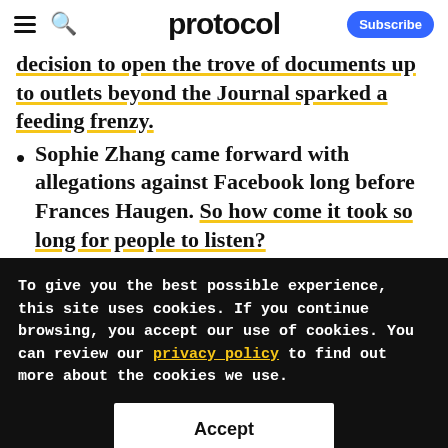protocol
decision to open the trove of documents up to outlets beyond the Journal sparked a feeding frenzy.
Sophie Zhang came forward with allegations against Facebook long before Frances Haugen. So how come it took so long for people to listen?
To give you the best possible experience, this site uses cookies. If you continue browsing, you accept our use of cookies. You can review our privacy policy to find out more about the cookies we use.
Accept